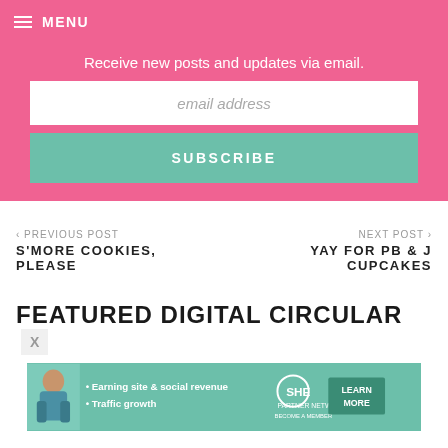MENU
Receive new posts and updates via email.
email address
SUBSCRIBE
PREVIOUS POST
S'MORE COOKIES, PLEASE
NEXT POST
YAY FOR PB & J CUPCAKES
FEATURED DIGITAL CIRCULAR
[Figure (infographic): SHE Partner Network advertisement banner with a woman, bullet points about Earning site & social revenue and Traffic growth, SHE logo, and LEARN MORE button]